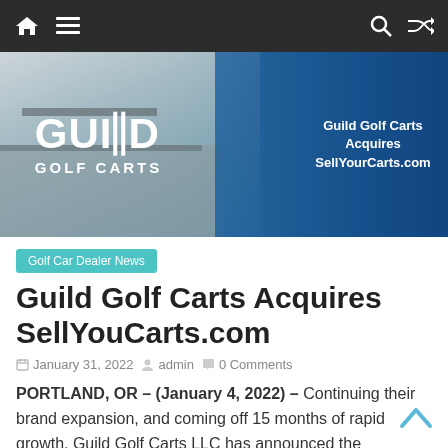Navigation bar with home, menu, search, and shuffle icons
[Figure (photo): Hero banner image showing aerial view of Guild Golf Carts dealership with logo overlay reading 'GUILD GOLF CARTS' and text 'Guild Golf Carts Acquires SellYourCarts.com' on a blue overlay on the right side]
Golf Car Dealer News
Guild Golf Carts Acquires SellYouCarts.com
January 31, 2022   admin   0 Comments
PORTLAND, OR – (January 4, 2022) – Continuing their brand expansion, and coming off 15 months of rapid growth, Guild Golf Carts LLC has announced the acquisition of SellYourCarts.com, as a way to further diversify their foothold in the